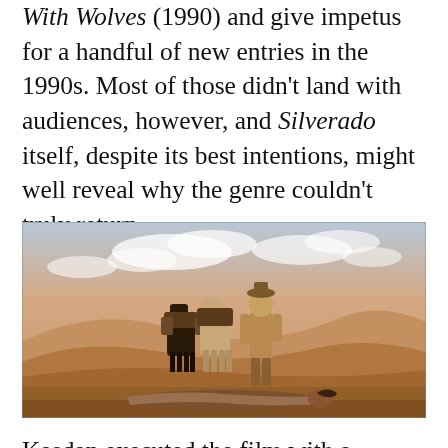With Wolves (1990) and give impetus for a handful of new entries in the 1990s. Most of those didn't land with audiences, however, and Silverado itself, despite its best intentions, might well reveal why the genre couldn't truly return.
[Figure (photo): A movie still from a Western film showing two horses with saddles and packs standing in a desert landscape with sand dunes, a person standing behind them, and a person lying on the ground in the foreground.]
Kasdan executed the film with a sprawling sense of the genre's visual and storytelling lexicon, but still made it adhere to his own, more personal fascination with a gallery of